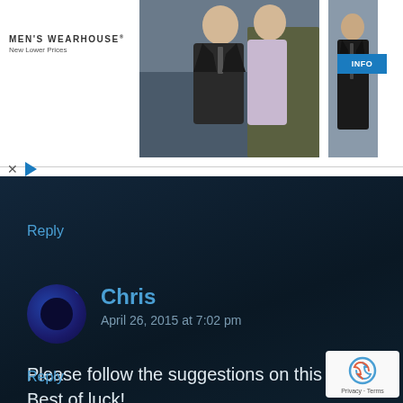[Figure (screenshot): Men's Wearhouse advertisement banner with couple in formalwear and man in suit, INFO button]
Reply
Chris
April 26, 2015 at 7:02 pm
Please follow the suggestions on this post. Best of luck!
Reply
[Figure (logo): reCAPTCHA badge with Privacy and Terms text]